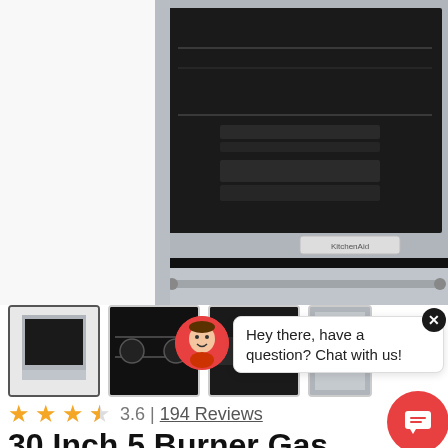[Figure (photo): KitchenAid oven/range product photo showing oven interior and stainless steel drawer at bottom, with KitchenAid logo visible]
[Figure (photo): Four product thumbnail images in a row: selected thumbnail of full range, three others showing burner grates and details]
[Figure (other): Chat popup widget with red avatar icon showing cartoon face, text 'Hey there, have a question? Chat with us!', close X button, and red chat button at bottom right]
3.6 | 194 Reviews
30 Inch 5 Burner Gas